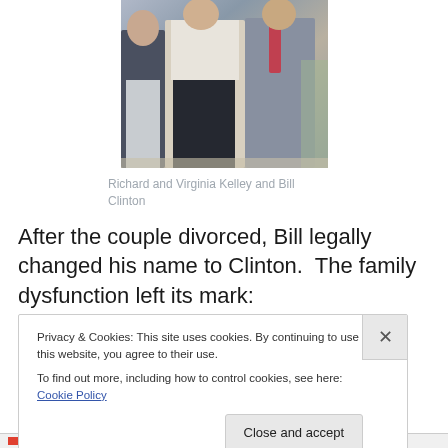[Figure (photo): A photograph showing three people standing together — Richard, Virginia Kelley, and Bill Clinton]
Richard and Virginia Kelley and Bill Clinton
After the couple divorced, Bill legally changed his name to Clinton.  The family dysfunction left its mark:
Privacy & Cookies: This site uses cookies. By continuing to use this website, you agree to their use.
To find out more, including how to control cookies, see here: Cookie Policy
Close and accept